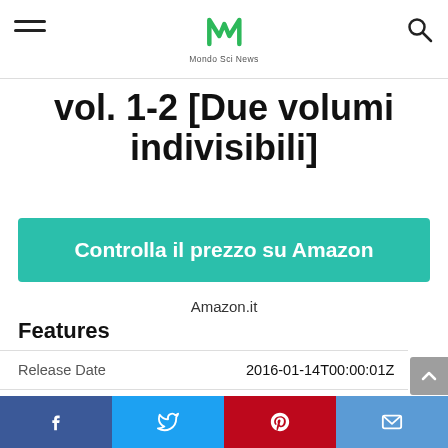Mondo Sci News
Vol. 1-2 [Due volumi indivisibili]
Controlla il prezzo su Amazon
Amazon.it
Features
|  |  |
| --- | --- |
| Release Date | 2016-01-14T00:00:01Z |
| Language | Italiano |
| Number Of Pages | 380 |
| Publication Date | 2016-01-14T00:00:01Z |
Facebook | Twitter | Pinterest | Email